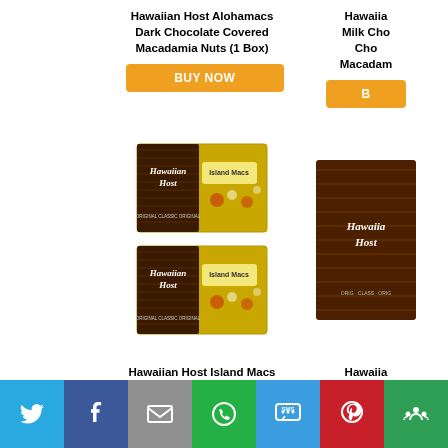Hawaiian Host Alohamacs Dark Chocolate Covered Macadamia Nuts (1 Box)
BUY NOW
Hawaiian Milk Cho Choco Macadam
B
[Figure (photo): Two boxes of Hawaiian Host Island Macs Tiare Milk Chocolate Covered Macadamia Nuts stacked on top of each other. Yellow and brown packaging with tropical floral design.]
[Figure (photo): Partial view of a Hawaiian Host product box, brown chocolate packaging visible on right side.]
Hawaiian Host Island Macs Tiare Milk Chocolate Covered Macadamia Nuts 5 oz Boxes (2 Boxes)
Hawaiian Net WT
B
[Figure (infographic): Social media sharing bar with Twitter, Facebook, Email, WhatsApp, SMS, Pinterest, and More buttons.]